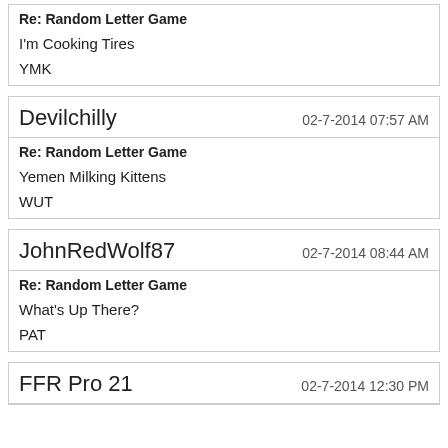Re: Random Letter Game
I'm Cooking Tires
YMK
Devilchilly — 02-7-2014 07:57 AM
Re: Random Letter Game
Yemen Milking Kittens
WUT
JohnRedWolf87 — 02-7-2014 08:44 AM
Re: Random Letter Game
What's Up There?
PAT
FFR Pro 21 — 02-7-2014 12:30 PM